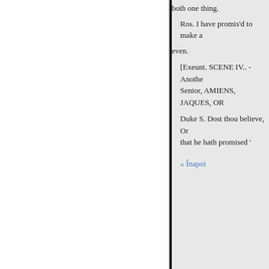both one thing.
Ros. I have promis'd to make a
even.
[Exeunt. SCENE IV.. - Anothe Senior, AMIENS, JAQUES, OR
Duke S. Dost thou believe, Or that he hath promised '
« Înapoi